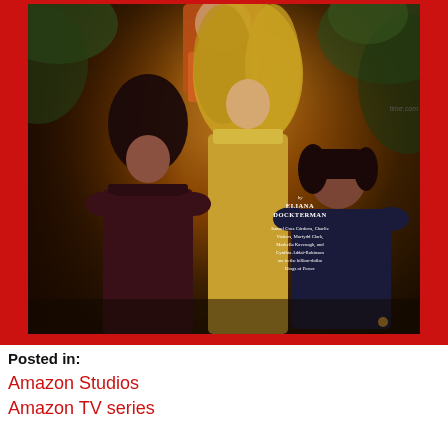[Figure (photo): A Time magazine style cover photo featuring four people (three women and part of a man in background) posed together in a dramatic, warm-toned setting with greenery. Text overlay reads 'by ELIANA DOCKTERMAN' and credits 'Ismael Cruz Córdova, Charlie Vickers, Morfydd Clark, Markella Kavenagh, and Cynthia Addai-Robinson are in the billion-dollar Rings of Power'. Watermark: time.com]
Posted in:
Amazon Studios
Amazon TV series